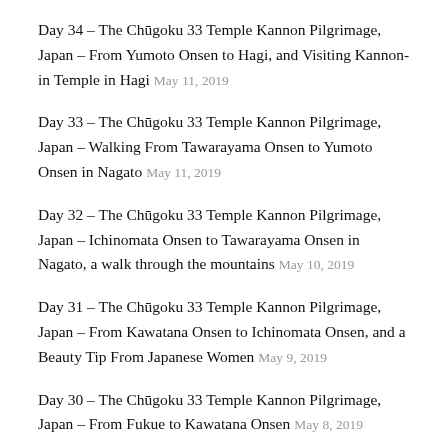Day 34 – The Chūgoku 33 Temple Kannon Pilgrimage, Japan – From Yumoto Onsen to Hagi, and Visiting Kannon-in Temple in Hagi May 11, 2019
Day 33 – The Chūgoku 33 Temple Kannon Pilgrimage, Japan – Walking From Tawarayama Onsen to Yumoto Onsen in Nagato May 11, 2019
Day 32 – The Chūgoku 33 Temple Kannon Pilgrimage, Japan – Ichinomata Onsen to Tawarayama Onsen in Nagato, a walk through the mountains May 10, 2019
Day 31 – The Chūgoku 33 Temple Kannon Pilgrimage, Japan – From Kawatana Onsen to Ichinomata Onsen, and a Beauty Tip From Japanese Women May 9, 2019
Day 30 – The Chūgoku 33 Temple Kannon Pilgrimage, Japan – From Fukue to Kawatana Onsen May 8, 2019